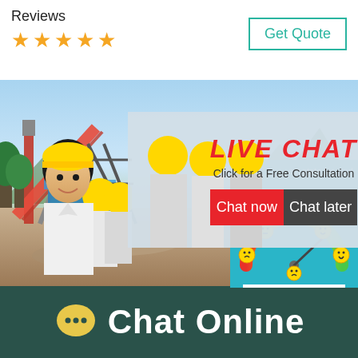Reviews
[Figure (infographic): Five orange star rating icons]
[Figure (infographic): Get Quote button with teal border]
[Figure (photo): Industrial conveyor/screening equipment at a construction site with blue sky and mountains in background]
[Figure (infographic): Live Chat popup overlay with a woman in white shirt and workers in yellow hard hats. Text: LIVE CHAT, Click for a Free Consultation, Chat now and Chat later buttons]
[Figure (infographic): Right side satisfaction meter gauge with smiley faces on teal background. Text: est state for you!, Click me to chat >>]
Enquiry
[Figure (infographic): Chat Online button bar with yellow speech bubble icon on dark teal background]